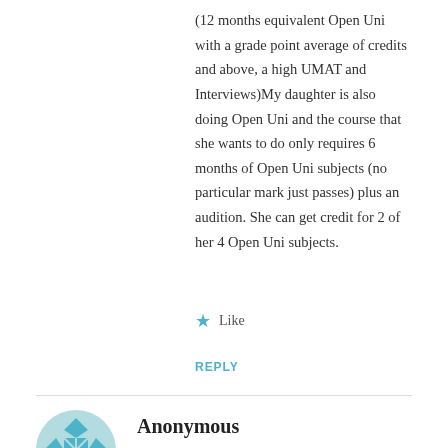(12 months equivalent Open Uni with a grade point average of credits and above, a high UMAT and Interviews)My daughter is also doing Open Uni and the course that she wants to do only requires 6 months of Open Uni subjects (no particular mark just passes) plus an audition. She can get credit for 2 of her 4 Open Uni subjects.
Like
REPLY
Anonymous
JULY 23, 2014 AT 3:27 AM